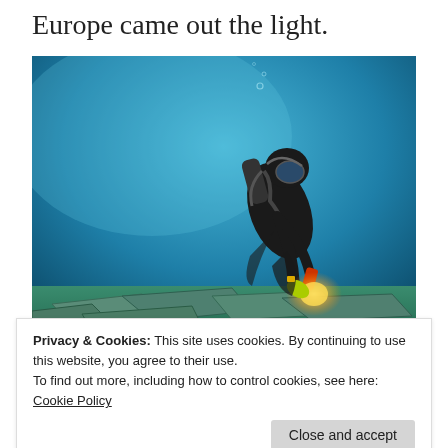Europe came out the light.
[Figure (photo): A scuba diver in black wetsuit and diving equipment holds a bright underwater torch/light while examining ancient stone ruins on the seafloor, with blue water surrounding them.]
Privacy & Cookies: This site uses cookies. By continuing to use this website, you agree to their use.
To find out more, including how to control cookies, see here: Cookie Policy
Close and accept